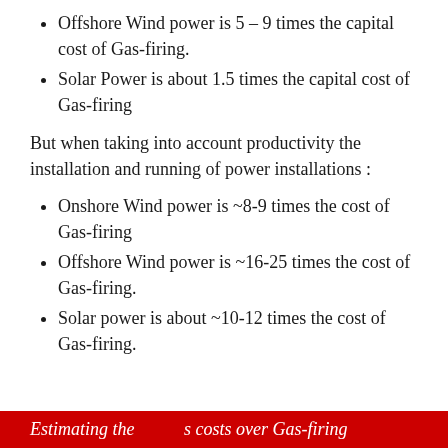Offshore Wind power is 5 – 9 times the capital cost of Gas-firing.
Solar Power is about 1.5 times the capital cost of Gas-firing
But when taking into account productivity the installation and running of power installations :
Onshore Wind power is ~8-9 times the cost of Gas-firing
Offshore Wind power is ~16-25 times the cost of Gas-firing.
Solar power is about ~10-12 times the cost of Gas-firing.
Estimating the … costs over Gas-firing